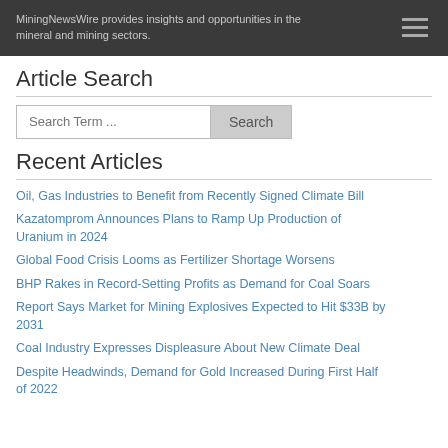MiningNewsWire provides insights and opportunities in the mineral and mining sectors.
Article Search
Search Term ...
Recent Articles
Oil, Gas Industries to Benefit from Recently Signed Climate Bill
Kazatomprom Announces Plans to Ramp Up Production of Uranium in 2024
Global Food Crisis Looms as Fertilizer Shortage Worsens
BHP Rakes in Record-Setting Profits as Demand for Coal Soars
Report Says Market for Mining Explosives Expected to Hit $33B by 2031
Coal Industry Expresses Displeasure About New Climate Deal
Despite Headwinds, Demand for Gold Increased During First Half of 2022